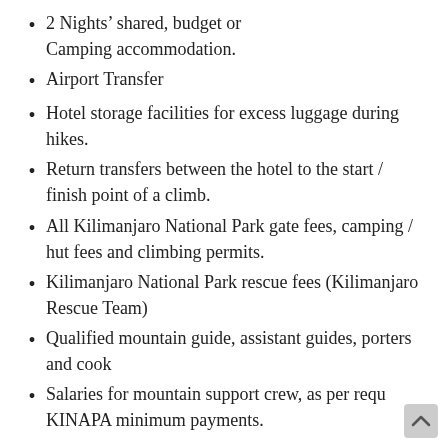2 Nights' shared, budget or Camping accommodation.
Airport Transfer
Hotel storage facilities for excess luggage during hikes.
Return transfers between the hotel to the start / finish point of a climb.
All Kilimanjaro National Park gate fees, camping / hut fees and climbing permits.
Kilimanjaro National Park rescue fees (Kilimanjaro Rescue Team)
Qualified mountain guide, assistant guides, porters and cook
Salaries for mountain support crew, as per requ KINAPA minimum payments.